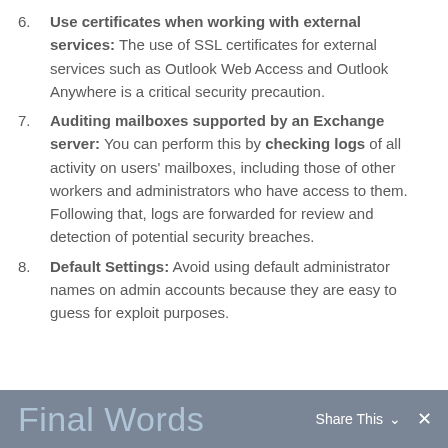6. Use certificates when working with external services: The use of SSL certificates for external services such as Outlook Web Access and Outlook Anywhere is a critical security precaution.
7. Auditing mailboxes supported by an Exchange server: You can perform this by checking logs of all activity on users' mailboxes, including those of other workers and administrators who have access to them. Following that, logs are forwarded for review and detection of potential security breaches.
8. Default Settings: Avoid using default administrator names on admin accounts because they are easy to guess for exploit purposes.
Final Words  Share This ✕